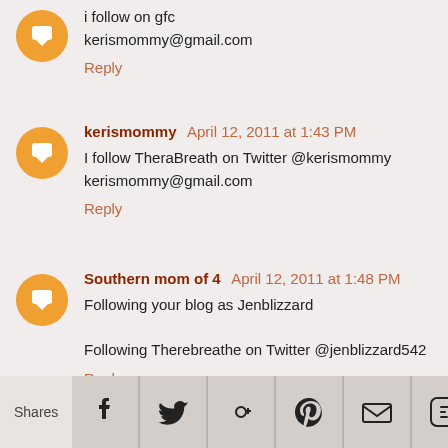i follow on gfc
kerismommy@gmail.com
Reply
kerismommy April 12, 2011 at 1:43 PM
I follow TheraBreath on Twitter @kerismommy
kerismommy@gmail.com
Reply
Southern mom of 4 April 12, 2011 at 1:48 PM
Following your blog as Jenblizzard

Following Therebreathe on Twitter @jenblizzard542
Reply